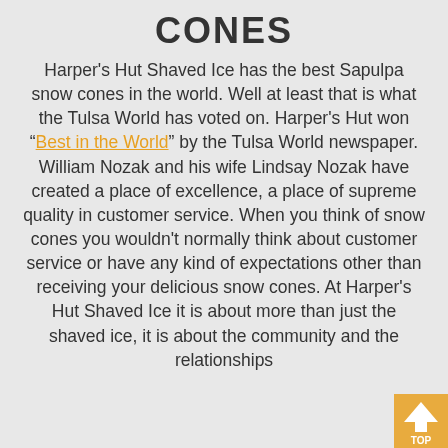CONES
Harper’s Hut Shaved Ice has the best Sapulpa snow cones in the world. Well at least that is what the Tulsa World has voted on. Harper’s Hut won “Best in the World” by the Tulsa World newspaper. William Nozak and his wife Lindsay Nozak have created a place of excellence, a place of supreme quality in customer service. When you think of snow cones you wouldn’t normally think about customer service or have any kind of expectations other than receiving your delicious snow cones. At Harper’s Hut Shaved Ice it is about more than just the shaved ice, it is about the community and the relationships